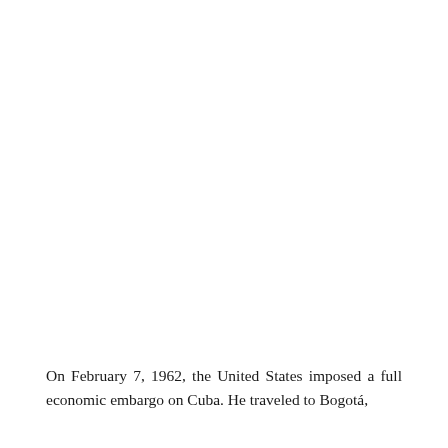On February 7, 1962, the United States imposed a full economic embargo on Cuba. He traveled to Bogotá,